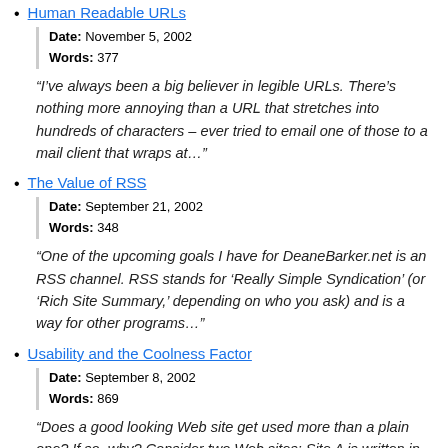Human Readable URLs
Date: November 5, 2002
Words: 377
“I’ve always been a big believer in legible URLs. There’s nothing more annoying than a URL that stretches into hundreds of characters – ever tried to email one of those to a mail client that wraps at…”
The Value of RSS
Date: September 21, 2002
Words: 348
“One of the upcoming goals I have for DeaneBarker.net is an RSS channel. RSS stands for ‘Really Simple Syndication’ (or ‘Rich Site Summary,’ depending on who you ask) and is a way for other programs…”
Usability and the Coolness Factor
Date: September 8, 2002
Words: 869
“Does a good looking Web site get used more than a plain one? If so, why? Consider two Web sites: Site A is written in plain HTML / CSS / JavaScript, etc. It’s a ‘traditional’ Web app, well designed…”